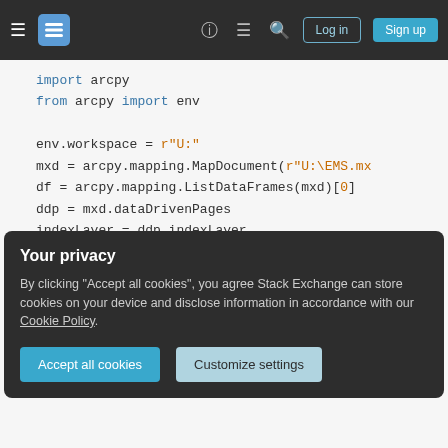Stack Exchange navigation bar with hamburger menu, logo, help, chat, search, log in, sign up
import arcpy
from arcpy import env

env.workspace = r"U:"
mxd = arcpy.mapping.MapDocument(r"U:\EMS.mx
df = arcpy.mapping.ListDataFrames(mxd)[0]
ddp = mxd.dataDrivenPages
indexLayer = ddp.indexLayer

# def ddpScale():
#     if df.scale < 6000:
#         df.scale = 6000
#     elif df.scale > 10000:
#         df.scale = 10000
Your privacy
By clicking "Accept all cookies", you agree Stack Exchange can store cookies on your device and disclose information in accordance with our Cookie Policy.
Accept all cookies  Customize settings
elif df.scale > 10000: